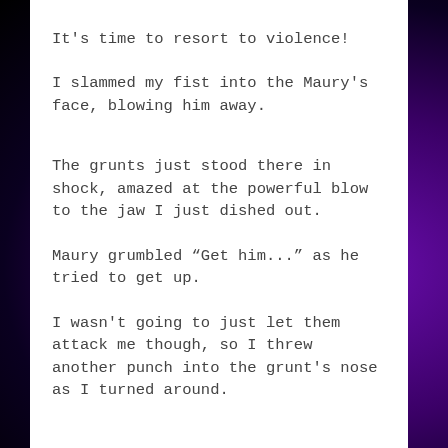It's time to resort to violence!
I slammed my fist into the Maury's face, blowing him away.
The grunts just stood there in shock, amazed at the powerful blow to the jaw I just dished out.
Maury grumbled “Get him...” as he tried to get up.
I wasn't going to just let them attack me though, so I threw another punch into the grunt's nose as I turned around.